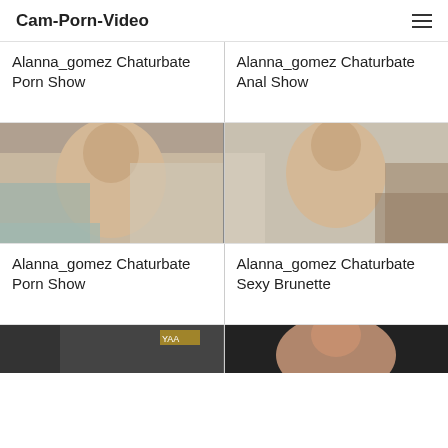Cam-Porn-Video
Alanna_gomez Chaturbate Porn Show
Alanna_gomez Chaturbate Anal Show
[Figure (photo): Webcam screenshot of blonde woman]
[Figure (photo): Webcam screenshot of woman with glasses]
Alanna_gomez Chaturbate Porn Show
Alanna_gomez Chaturbate Sexy Brunette
[Figure (photo): Webcam screenshot partial view dark background]
[Figure (photo): Webcam screenshot partial view woman]